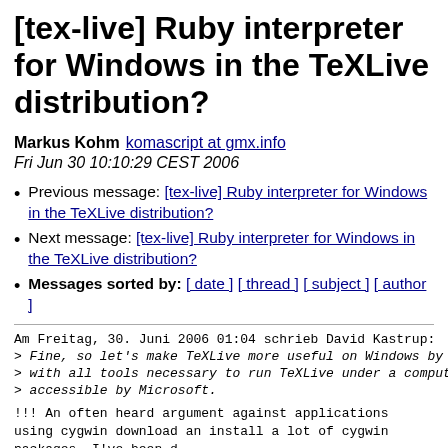[tex-live] Ruby interpreter for Windows in the TeXLive distribution?
Markus Kohm komascript at gmx.info
Fri Jun 30 10:10:29 CEST 2006
Previous message: [tex-live] Ruby interpreter for Windows in the TeXLive distribution?
Next message: [tex-live] Ruby interpreter for Windows in the TeXLive distribution?
Messages sorted by: [ date ] [ thread ] [ subject ] [ author ]
Am Freitag, 30. Juni 2006 01:04 schrieb David Kastrup:
> Fine, so let's make TeXLive more useful on Windows by d
> with all tools necessary to run TeXLive under a compute
> accessible by Microsoft.
!!!
An often heard argument against applications using cygwin
download an install a lot of cygwin packages. I've been d